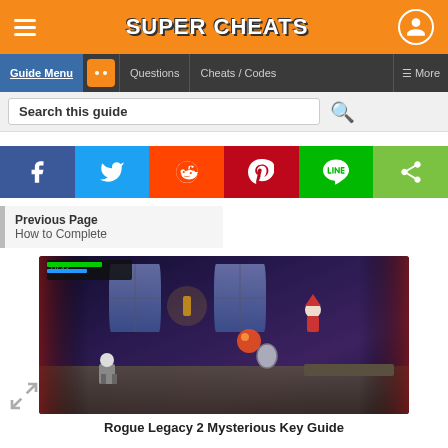Super Cheats
Guide Menu | Questions | Cheats / Codes | More
Search this guide
[Figure (infographic): Social sharing buttons: Facebook, Twitter, Reddit, Pinterest, Line, Share]
Previous Page
How to Complete
[Figure (screenshot): Rogue Legacy 2 game screenshot showing a castle interior with characters fighting]
Rogue Legacy 2 Mysterious Key Guide